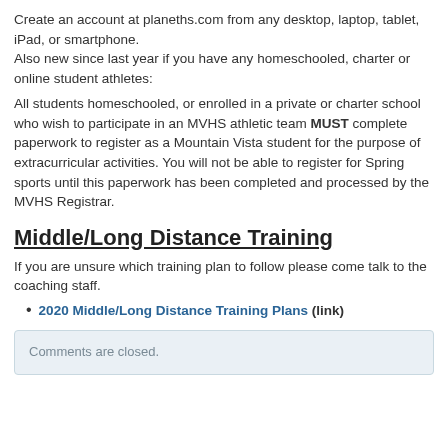Create an account at planeths.com from any desktop, laptop, tablet, iPad, or smartphone.
Also new since last year if you have any homeschooled, charter or online student athletes:
All students homeschooled, or enrolled in a private or charter school who wish to participate in an MVHS athletic team MUST complete paperwork to register as a Mountain Vista student for the purpose of extracurricular activities. You will not be able to register for Spring sports until this paperwork has been completed and processed by the MVHS Registrar.
Middle/Long Distance Training
If you are unsure which training plan to follow please come talk to the coaching staff.
2020 Middle/Long Distance Training Plans (link)
Comments are closed.